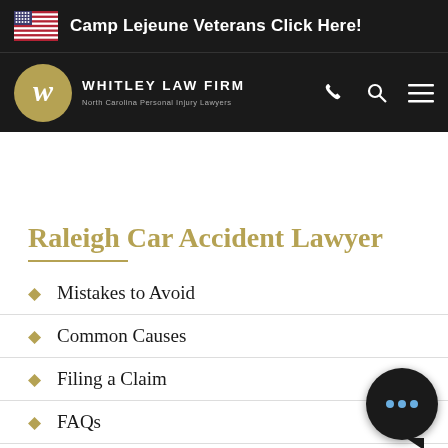Camp Lejeune Veterans Click Here!
[Figure (logo): Whitley Law Firm logo with gold circular emblem and text 'WHITLEY LAW FIRM – North Carolina Personal Injury Lawyers']
Raleigh Car Accident Lawyer
Mistakes to Avoid
Common Causes
Filing a Claim
FAQs